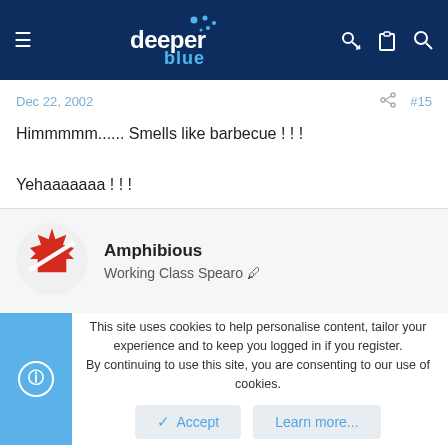[Figure (logo): DeeperBlue website header logo with navigation icons]
Dec 22, 2002
#15
Himmm...... Smells like barbecue ! ! !

Yehaaaaaaa ! ! !
[Figure (illustration): Canadian maple leaf avatar with diving flag overlay for user Amphibious]
Amphibious
Working Class Spearo
This site uses cookies to help personalise content, tailor your experience and to keep you logged in if you register. By continuing to use this site, you are consenting to our use of cookies.